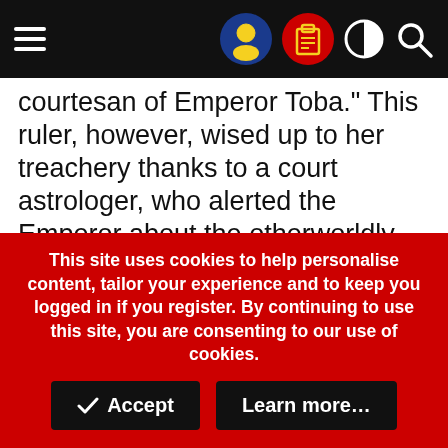Navigation bar with hamburger menu and icons
courtesan of Emperor Toba." This ruler, however, wised up to her treachery thanks to a court astrologer, who alerted the Emperor about the otherworldly nature of his consort. With a death sentence hanging over her head, Tamamo-no-Mae had no recourse but to escape to the volcanic region of Nasu, where she supernaturally embedded herself into a stone called the Sessho-seki, or "Killing Stone."

A popular tourist attraction located in the Tochigi
This site uses cookies to help personalise content, tailor your experience and to keep you logged in if you register. By continuing to use this site, you are consenting to our use of cookies.
Accept   Learn more…